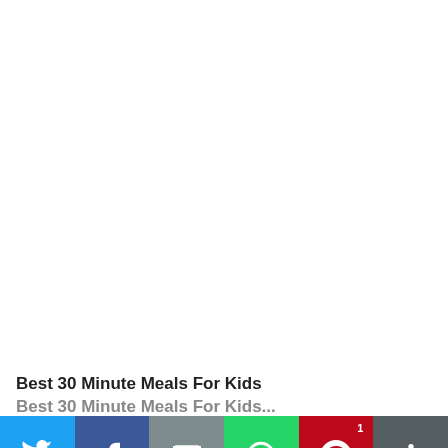[Figure (photo): Large white/blank image area taking up most of the page]
Best 30 Minute Meals For Kids
Best 30 Minute Meals For Kids (partial, cut off)
[Figure (infographic): Social media share bar with Twitter, Facebook, Email, WhatsApp, Pinterest (with count 1), and More buttons]